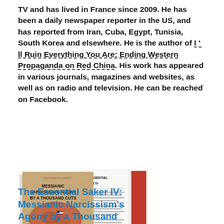TV and has lived in France since 2009. He has been a daily newspaper reporter in the US, and has reported from Iran, Cuba, Egypt, Tunisia, South Korea and elsewhere. He is the author of I'll Ruin Everything You Are: Ending Western Propaganda on Red China. His work has appeared in various journals, magazines and websites, as well as on radio and television. He can be reached on Facebook.
[Figure (photo): Book cover image showing 'The Essential Saker IV: Messianic Narcissism's Agony by a Thousand Cuts' - two books displayed, one showing the front cover with a raw steak in the shape of the US map with a small flag, and one showing the spine and back cover in red.]
The Essential Saker IV: Messianic Narcissism's Agony by a Thousand Cuts